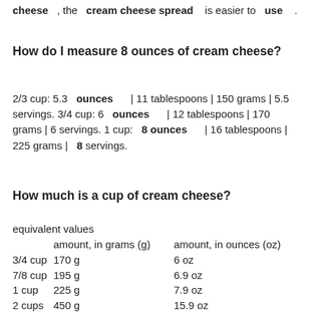cheese , the cream cheese spread is easier to use .
How do I measure 8 ounces of cream cheese?
2/3 cup: 5.3 ounces | 11 tablespoons | 150 grams | 5.5 servings. 3/4 cup: 6 ounces | 12 tablespoons | 170 grams | 6 servings. 1 cup: 8 ounces | 16 tablespoons | 225 grams | 8 servings.
How much is a cup of cream cheese?
equivalent values
|  | amount, in grams (g) | amount, in ounces (oz) |
| --- | --- | --- |
| 3/4 cup | 170 g | 6 oz |
| 7/8 cup | 195 g | 6.9 oz |
| 1 cup | 225 g | 7.9 oz |
| 2 cups | 450 g | 15.9 oz |